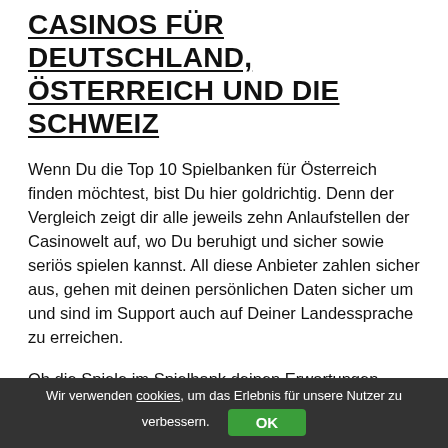CASINOS FÜR DEUTSCHLAND, ÖSTERREICH UND DIE SCHWEIZ
Wenn Du die Top 10 Spielbanken für Österreich finden möchtest, bist Du hier goldrichtig. Denn der Vergleich zeigt dir alle jeweils zehn Anlaufstellen der Casinowelt auf, wo Du beruhigt und sicher sowie seriös spielen kannst. All diese Anbieter zahlen sicher aus, gehen mit deinen persönlichen Daten sicher um und sind im Support auch auf Deiner Landessprache zu erreichen.
Ob die Spiele im Spielbank deinen Erwartungen entsprechen, kann der unabhängig Vergleich natürlich nicht beurteilen, aber wir sind uns fast sicher dass die Spielbanken die Vielfalt und …
Wir verwenden cookies, um das Erlebnis für unsere Nutzer zu verbessern.